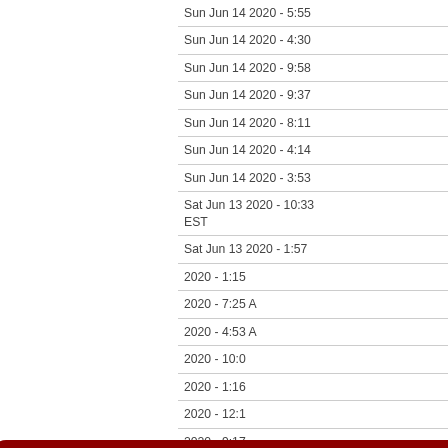Sun Jun 14 2020 - 5:55
Sun Jun 14 2020 - 4:30
Sun Jun 14 2020 - 9:58
Sun Jun 14 2020 - 9:37
Sun Jun 14 2020 - 8:11
Sun Jun 14 2020 - 4:14
Sun Jun 14 2020 - 3:53
Sat Jun 13 2020 - 10:33 EST
Sat Jun 13 2020 - 1:57
2020 - 1:15
2020 - 7:25 A
2020 - 4:53 A
2020 - 10:0
2020 - 1:16
2020 - 12:1
2020 - 9:17
2020 - 7:49
2020 - 7:05
2020 - 6:01
2020 - 3:27
Wed Jun 10 2020 - 11:2 EST
We have updated our Cookie Policy, Privacy Policy, and Terms of Use. By continuing to use our site you agree to our cookie usage and our updated Cookie Policy / Privacy Policy / Terms of Use (2018-05-23)
Dismiss